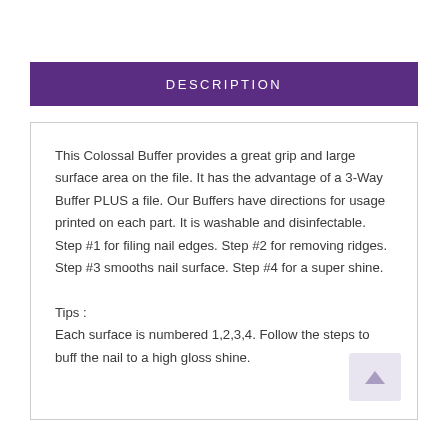DESCRIPTION
This Colossal Buffer provides a great grip and large surface area on the file. It has the advantage of a 3-Way Buffer PLUS a file. Our Buffers have directions for usage printed on each part. It is washable and disinfectable. Step #1 for filing nail edges. Step #2 for removing ridges. Step #3 smooths nail surface. Step #4 for a super shine.
Tips :
Each surface is numbered 1,2,3,4. Follow the steps to buff the nail to a high gloss shine.